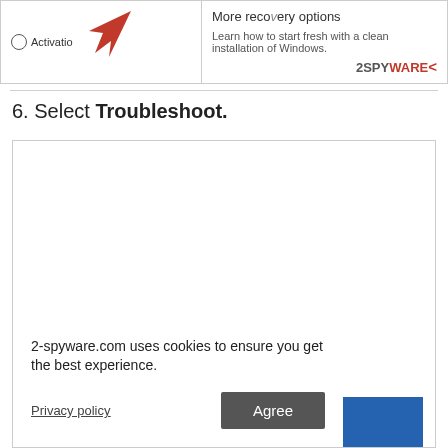[Figure (screenshot): Partial screenshot of a Windows recovery options screen showing 'More recovery options', 'Learn how to start fresh with a clean installation of Windows', a red arrow cursor pointing left, and an 'Activation' item with circle icon. The 2SPYWARE brand watermark appears in the bottom-right corner.]
6. Select Troubleshoot.
[Figure (screenshot): Large blank white screenshot box showing a Windows Troubleshoot selection screen (content mostly white/empty in cropped view). A cookie consent banner overlays the bottom-left, and a blue button is partially visible at bottom-right.]
2-spyware.com uses cookies to ensure you get the best experience.
Privacy policy
Agree